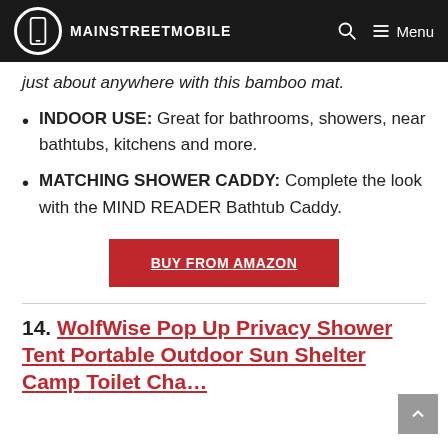MAINSTREETMOBILE
just about anywhere with this bamboo mat.
INDOOR USE: Great for bathrooms, showers, near bathtubs, kitchens and more.
MATCHING SHOWER CADDY: Complete the look with the MIND READER Bathtub Caddy.
BUY FROM AMAZON
14. WolfWise Pop Up Privacy Shower Tent Portable Outdoor Sun Shelter Camp Toilet Changing...